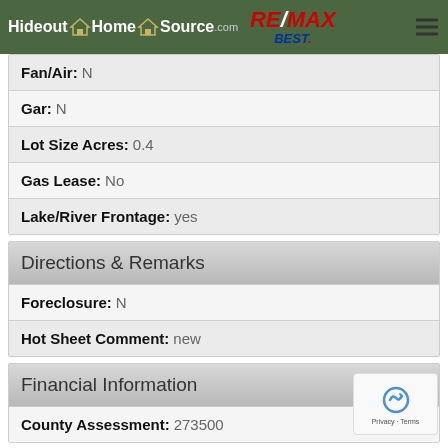Hideout Home Source.com RE/MAX BEST
Fan/Air: N
Gar: N
Lot Size Acres: 0.4
Gas Lease: No
Lake/River Frontage: yes
Directions & Remarks
Foreclosure: N
Hot Sheet Comment: new
Financial Information
County Assessment: 273500